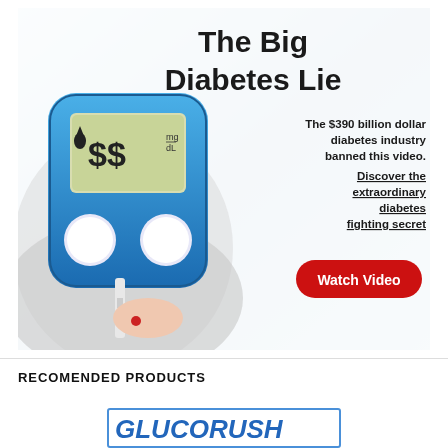[Figure (illustration): Advertisement banner for 'The Big Diabetes Lie' showing a blue glucose meter held in a gloved hand displaying dollar signs, with promotional text and a red Watch Video button]
RECOMENDED PRODUCTS
[Figure (logo): Partial product logo/banner in blue italic text (GLUCORUSH or similar) with blue border]